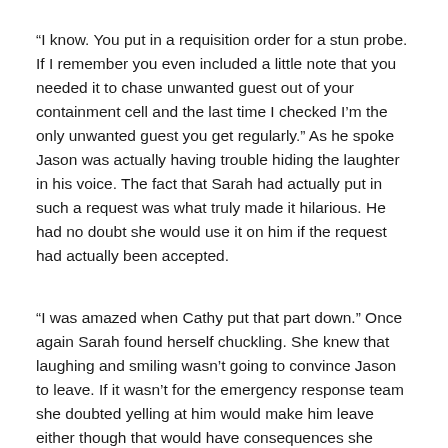“I know. You put in a requisition order for a stun probe. If I remember you even included a little note that you needed it to chase unwanted guest out of your containment cell and the last time I checked I’m the only unwanted guest you get regularly.” As he spoke Jason was actually having trouble hiding the laughter in his voice. The fact that Sarah had actually put in such a request was what truly made it hilarious. He had no doubt she would use it on him if the request had actually been accepted.
“I was amazed when Cathy put that part down.” Once again Sarah found herself chuckling. She knew that laughing and smiling wasn’t going to convince Jason to leave. If it wasn’t for the emergency response team she doubted yelling at him would make him leave either though that would have consequences she didn’t want to deal with. “Hey now wait a minute. How do